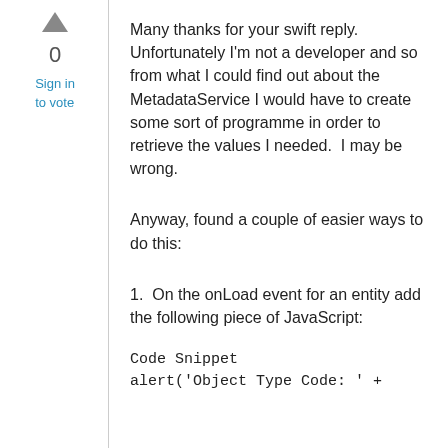[Figure (other): Upward-pointing triangle/arrow used as a vote-up button]
0
Sign in
to vote
Many thanks for your swift reply. Unfortunately I'm not a developer and so from what I could find out about the MetadataService I would have to create some sort of programme in order to retrieve the values I needed.  I may be wrong.
Anyway, found a couple of easier ways to do this:
1.  On the onLoad event for an entity add the following piece of JavaScript:
Code Snippet
alert('Object Type Code: ' +